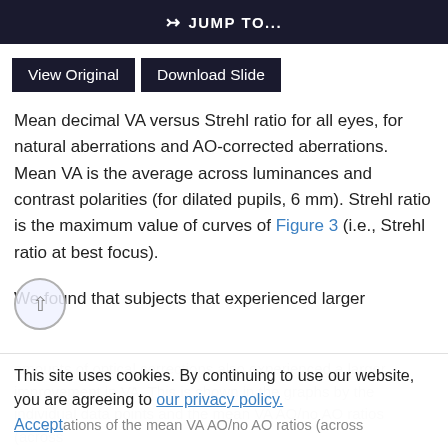⇒ JUMP TO...
View Original   Download Slide
Mean decimal VA versus Strehl ratio for all eyes, for natural aberrations and AO-corrected aberrations. Mean VA is the average across luminances and contrast polarities (for dilated pupils, 6 mm). Strehl ratio is the maximum value of curves of Figure 3 (i.e., Strehl ratio at best focus).
We found that subjects that experienced larger amounts of optical corrections also experienced a larger improvement in VA. This is shown in the graphs by the individual data points and the mean VA AO/no AO ratios (across luminances and contrast polarities).
This site uses cookies. By continuing to use our website, you are agreeing to our privacy policy. Accept